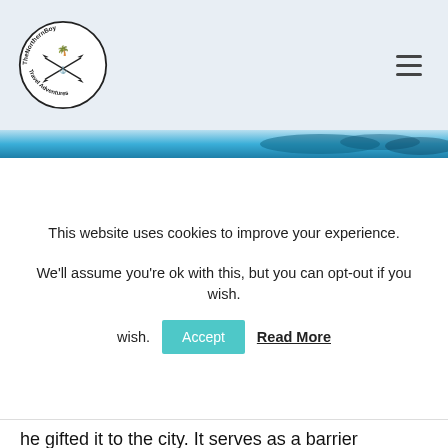TheNorthernBoy Travel Adventures [logo] [hamburger menu]
[Figure (photo): Ocean/water scene used as a decorative banner strip at the top of the page]
This website uses cookies to improve your experience.
We'll assume you're ok with this, but you can opt-out if you wish.
Accept   Read More
he gifted it to the city. It serves as a barrier between Waikiki and the southwest residential area of Diamond Head. Being Honolulu's oldest park, it is the most loved and contains family